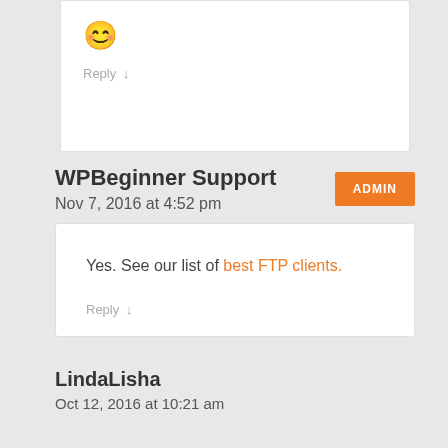[Figure (illustration): Smiley face emoji icon (yellow, pixel/bitmap style)]
Reply ↓
WPBeginner Support
ADMIN
Nov 7, 2016 at 4:52 pm
Yes. See our list of best FTP clients.
Reply ↓
LindaLisha
Oct 12, 2016 at 10:21 am